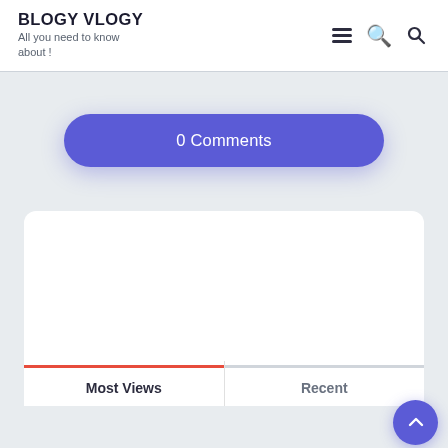BLOGY VLOGY — All you need to know about !
0 Comments
[Figure (screenshot): White card panel with tabs 'Most Views' and 'Recent' at the bottom, with a red underline under 'Most Views' indicating the active tab]
Most Views
Recent